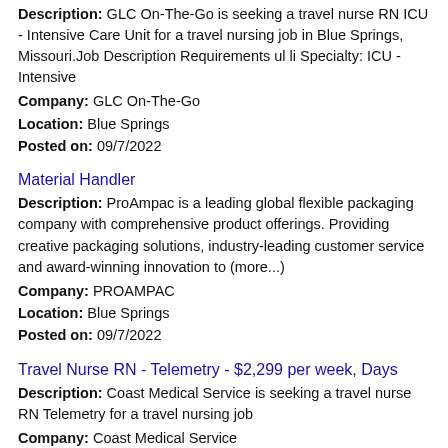Description: GLC On-The-Go is seeking a travel nurse RN ICU - Intensive Care Unit for a travel nursing job in Blue Springs, Missouri.Job Description Requirements ul li Specialty: ICU - Intensive
Company: GLC On-The-Go
Location: Blue Springs
Posted on: 09/7/2022
Material Handler
Description: ProAmpac is a leading global flexible packaging company with comprehensive product offerings. Providing creative packaging solutions, industry-leading customer service and award-winning innovation to (more...)
Company: PROAMPAC
Location: Blue Springs
Posted on: 09/7/2022
Travel Nurse RN - Telemetry - $2,299 per week, Days
Description: Coast Medical Service is seeking a travel nurse RN Telemetry for a travel nursing job
Company: Coast Medical Service
Location: Blue Springs
Posted on: 09/7/2022